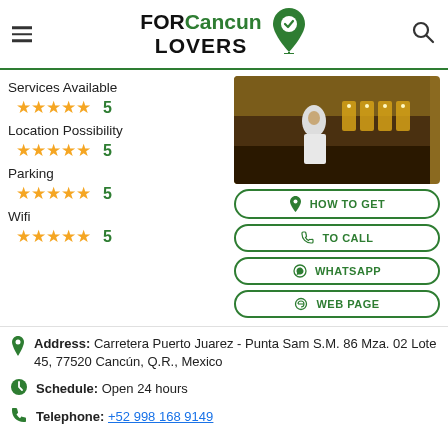FOR Cancun LOVERS
Services Available
★★★★★ 5
Location Possibility
★★★★★ 5
Parking
★★★★★ 5
Wifi
★★★★★ 5
[Figure (photo): Wedding photo with bride in white dress and illuminated LOVE letters sign on beach]
HOW TO GET
TO CALL
WHATSAPP
WEB PAGE
Address: Carretera Puerto Juarez - Punta Sam S.M. 86 Mza. 02 Lote 45, 77520 Cancún, Q.R., Mexico
Schedule: Open 24 hours
Telephone: +52 998 168 9149